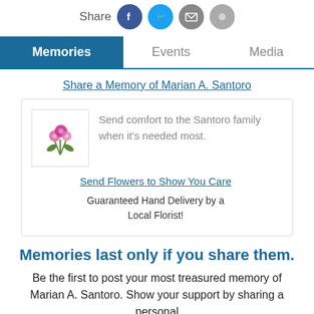[Figure (infographic): Share label with four social media icons (Facebook blue, Twitter light blue, email gray, another gray circle)]
Memories | Events | Media
Share a Memory of Marian A. Santoro
[Figure (infographic): Flower bouquet image with text: Send comfort to the Santoro family when it's needed most. Link: Send Flowers to Show You Care. Guaranteed Hand Delivery by a Local Florist!]
Memories last only if you share them.
Be the first to post your most treasured memory of Marian A. Santoro. Show your support by sharing a personal